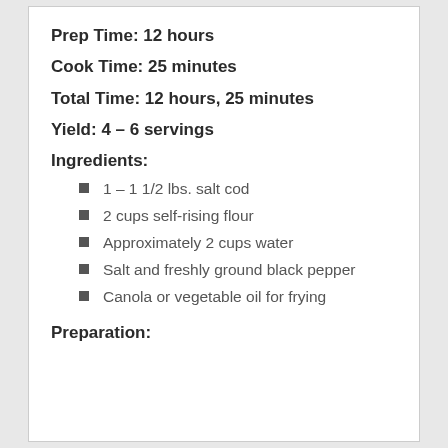Prep Time: 12 hours
Cook Time: 25 minutes
Total Time: 12 hours, 25 minutes
Yield: 4 – 6 servings
Ingredients:
1 – 1 1/2 lbs. salt cod
2 cups self-rising flour
Approximately 2 cups water
Salt and freshly ground black pepper
Canola or vegetable oil for frying
Preparation: